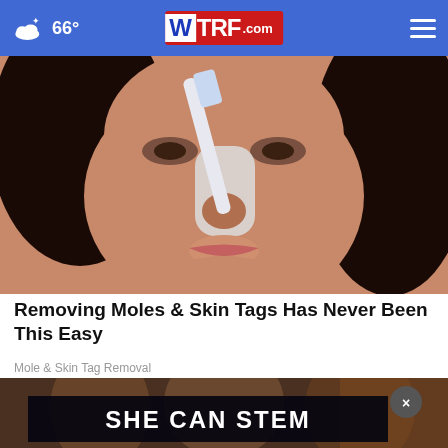WTRF.com — 66° weather — navigation menu
[Figure (photo): Close-up photo of a dark-haired woman applying something white to her nose with a toothbrush-like tool]
Removing Moles & Skin Tags Has Never Been This Easy
Mole & Skin Tag Removal
[Figure (photo): Photo of people with a dark overlay ad banner reading SHE CAN STEM with a close button]
SHE CAN STEM